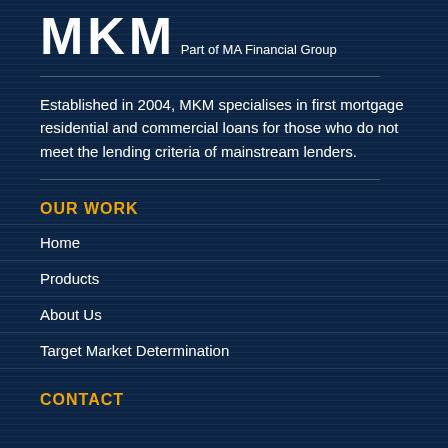[Figure (logo): MKM logo in large bold white letters]
Part of MA Financial Group
Established in 2004, MKM specialises in first mortgage residential and commercial loans for those who do not meet the lending criteria of mainstream lenders.
OUR WORK
Home
Products
About Us
Target Market Determination
CONTACT